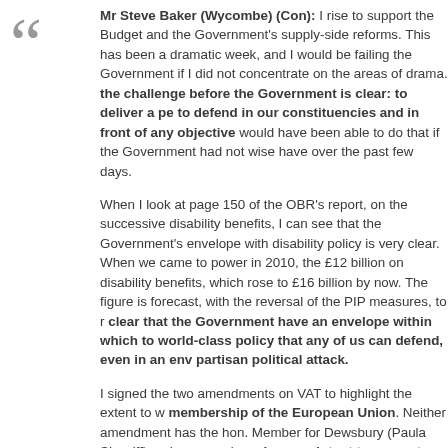Mr Steve Baker (Wycombe) (Con): I rise to support the Budget and the Government's supply-side reforms. This has been a dramatic… the Government if I did not concentrate on the areas of drama. the challenge before the Government is clear: to deliver a policy to defend in our constituencies and in front of any objective… would have been able to do that if the Government had not wisely… have over the past few days.

When I look at page 150 of the OBR's report, on the successive disability benefits, I can see that the Government's envelope with disability policy is very clear. When we came to power in 2010, the £12 billion on disability benefits, which rose to £16 billion by now. The figure is forecast, with the reversal of the PIP measures, to… clear that the Government have an envelope within which to… world-class policy that any of us can defend, even in an env… partisan political attack.

I signed the two amendments on VAT to highlight the extent to w… membership of the European Union. Neither amendment has… the hon. Member for Dewsbury (Paula Sherriff) on her amendme… clear our intent to zero rate tampons and other sanitary pro… amendments are pursuant to Government policy, and this is the… the EU. We had to have a dramatic row over VAT in the conte…